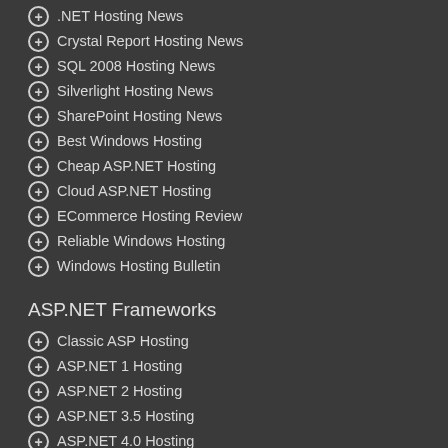.NET Hosting News
Crystal Report Hosting News
SQL 2008 Hosting News
Silverlight Hosting News
SharePoint Hosting News
Best Windows Hosting
Cheap ASP.NET Hosting
Cloud ASP.NET Hosting
ECommerce Hosting Review
Reliable Windows Hosting
Windows Hosting Bulletin
ASP.NET Frameworks
Classic ASP Hosting
ASP.NET 1 Hosting
ASP.NET 2 Hosting
ASP.NET 3.5 Hosting
ASP.NET 4.0 Hosting
ASP.NET 4.5 Hosting
ASP.NET 4.6 Hosting
ASP.NET 4.7 Hosting
ASP.NET 4.8 Hosting
ASP.NET 5 Hosting